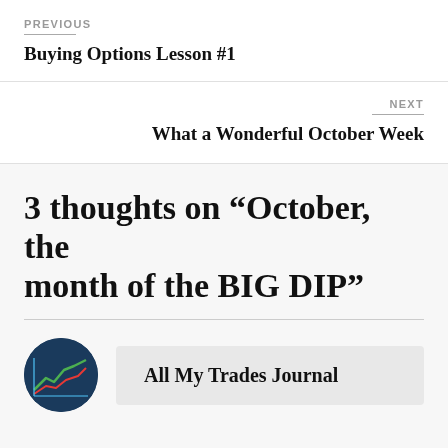PREVIOUS
Buying Options Lesson #1
NEXT
What a Wonderful October Week
3 thoughts on “October, the month of the BIG DIP”
All My Trades Journal